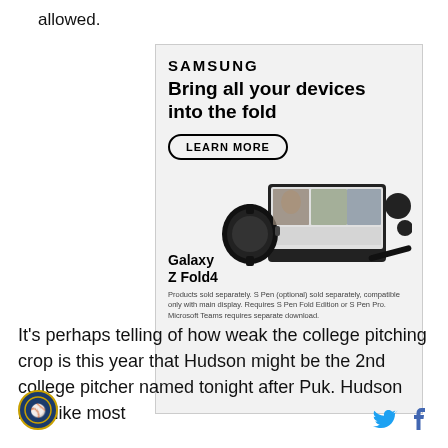allowed.
[Figure (infographic): Samsung advertisement featuring Galaxy Z Fold4. Shows Samsung logo, headline 'Bring all your devices into the fold', a 'LEARN MORE' button, product images of Galaxy Watch, Galaxy Z Fold4 laptop in a video call, earbuds, and S Pen. Fine print below: 'Products sold separately. S Pen (optional) sold separately, compatible only with main display. Requires S Pen Fold Edition or S Pen Pro. Microsoft Teams requires separate download.']
It's perhaps telling of how weak the college pitching crop is this year that Hudson might be the 2nd college pitcher named tonight after Puk. Hudson isn't like most